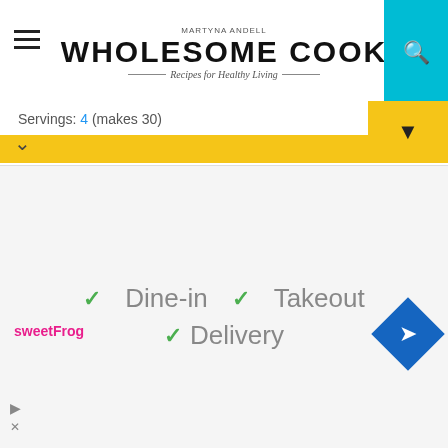MARTYNA ANDELL
WHOLESOME COOK
Recipes for Healthy Living
Servings: 4 (makes 30)
Ingredients
For the Northern Chinese Lamb Dumplings:
1 (30 pieces) packet gow gee wrappers
For the Northern Chinese Lamb Dumpling filling:
500 g lamb mince
1/2 red onion diced finely
100 g wombok (Chinese cabbage) shredded finely
20 g garlic chives chopped finely
2 tsp Worcestershire sauce
1 tsp cumin seeds ground
[Figure (infographic): Advertisement banner showing sweetFrog logo, checkmarks with Dine-in, Takeout, Delivery text, and a blue navigation diamond icon]